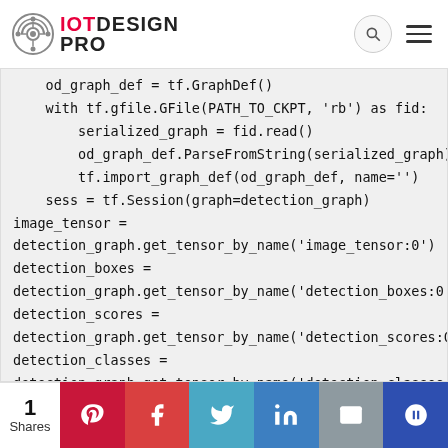IOT DESIGN PRO
od_graph_def = tf.GraphDef()
    with tf.gfile.GFile(PATH_TO_CKPT, 'rb') as fid:
        serialized_graph = fid.read()
        od_graph_def.ParseFromString(serialized_graph)
        tf.import_graph_def(od_graph_def, name='')
    sess = tf.Session(graph=detection_graph)
image_tensor =
detection_graph.get_tensor_by_name('image_tensor:0')
detection_boxes =
detection_graph.get_tensor_by_name('detection_boxes:0')
detection_scores =
detection_graph.get_tensor_by_name('detection_scores:0')
detection_classes =
detection_graph.get_tensor_by_name('detection_classes:0')
num_detections =
detection_graph.get_tensor_by_name('num_detections:0')
1 Shares | Social share buttons